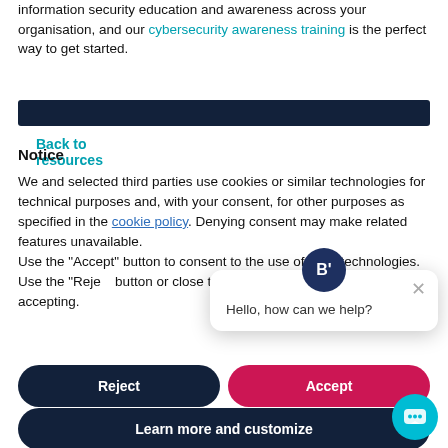information security education and awareness across your organisation, and our cybersecurity awareness training is the perfect way to get started.
Back to resources
[Figure (other): Dark navy horizontal bar]
Notice
We and selected third parties use cookies or similar technologies for technical purposes and, with your consent, for other purposes as specified in the cookie policy. Denying consent may make related features unavailable.
Use the "Accept" button to consent to the use of such technologies. Use the "Reject" button or close this notice to continue without accepting.
[Figure (screenshot): Chat popup with B' logo icon, close button, and text: Hello, how can we help?]
Reject
Accept
Learn more and customize